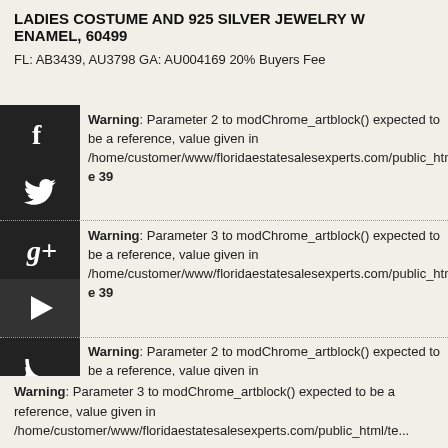LADIES COSTUME AND 925 SILVER JEWELRY W ENAMEL, 60499
FL: AB3439, AU3798 GA: AU004169 20% Buyers Fee
Warning: Parameter 2 to modChrome_artblock() expected to be a reference, value given in /home/customer/www/floridaestatesalesexperts.com/public_html/templ... line 39
Warning: Parameter 3 to modChrome_artblock() expected to be a reference, value given in /home/customer/www/floridaestatesalesexperts.com/public_html/templ... line 39
Warning: Parameter 2 to modChrome_artblock() expected to be a reference, value given in /home/customer/www/floridaestatesalesexperts.com/public_html/templ... line 39
Warning: Parameter 3 to modChrome_artblock() expected to be a reference, value given in /home/customer/www/floridaestatesalesexperts.com/public_html/templ...  line 39